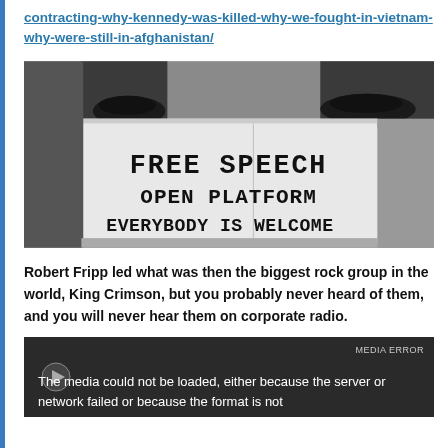contracting-why-kennedy-was-killed-why-we-fought-in-vietnam-why-were-still-in-afghanistan/
[Figure (photo): Black and white photograph of a person standing on a soapbox with a sign reading 'FREE SPEECH OPEN PLATFORM EVERYBODY IS WELCOME']
Robert Fripp led what was then the biggest rock group in the world, King Crimson, but you probably never heard of them, and you will never hear them on corporate radio.
[Figure (screenshot): Video player showing error message: 'The media could not be loaded, either because the server or network failed or because the format is not']